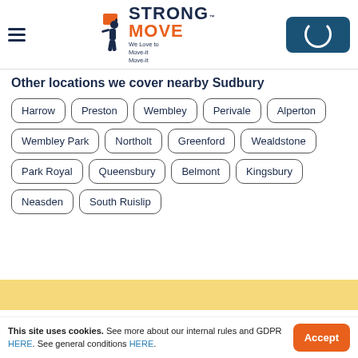Strong Move — We Love to Move-it Move-it
Other locations we cover nearby Sudbury
Harrow
Preston
Wembley
Perivale
Alperton
Wembley Park
Northolt
Greenford
Wealdstone
Park Royal
Queensbury
Belmont
Kingsbury
Neasden
South Ruislip
This site uses cookies. See more about our internal rules and GDPR HERE. See general conditions HERE.